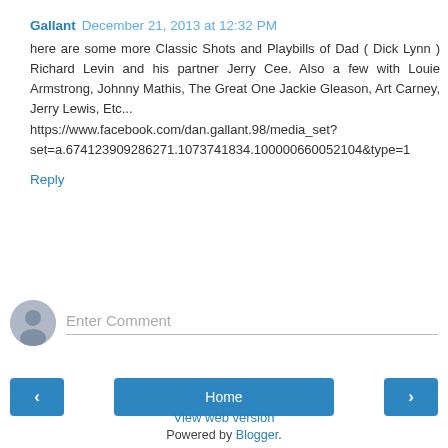Gallant  December 21, 2013 at 12:32 PM
here are some more Classic Shots and Playbills of Dad ( Dick Lynn ) Richard Levin and his partner Jerry Cee. Also a few with Louie Armstrong, Johnny Mathis, The Great One Jackie Gleason, Art Carney, Jerry Lewis, Etc... https://www.facebook.com/dan.gallant.98/media_set?set=a.674123909286271.1073741834.100000660052104&type=1
Reply
Enter Comment
Home
View web version
Powered by Blogger.